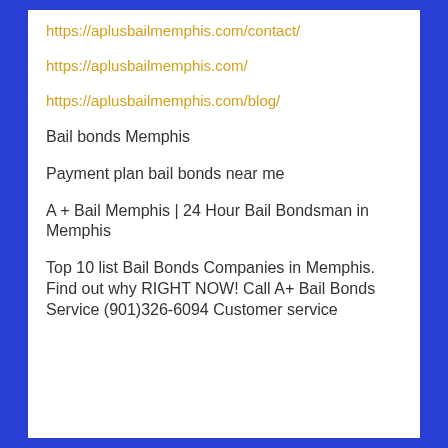https://aplusbailmemphis.com/contact/
https://aplusbailmemphis.com/
https://aplusbailmemphis.com/blog/
Bail bonds Memphis
Payment plan bail bonds near me
A + Bail Memphis | 24 Hour Bail Bondsman in Memphis
Top 10 list Bail Bonds Companies in Memphis. Find out why RIGHT NOW! Call A+ Bail Bonds Service (901)326-6094 Customer service